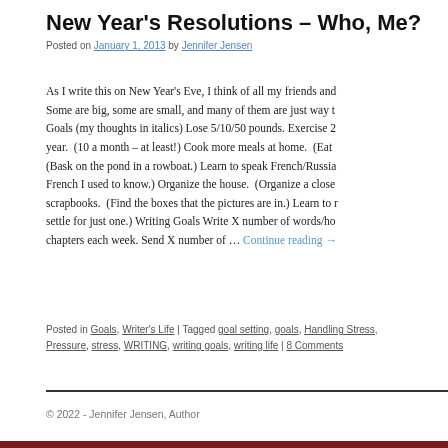New Year's Resolutions – Who, Me?
Posted on January 1, 2013 by Jennifer Jensen
As I write this on New Year's Eve, I think of all my friends and. Some are big, some are small, and many of them are just way t. Goals (my thoughts in italics) Lose 5/10/50 pounds. Exercise 2 year. (10 a month – at least!) Cook more meals at home. (Eat (Bask on the pond in a rowboat.) Learn to speak French/Russia French I used to know.) Organize the house. (Organize a close scrapbooks. (Find the boxes that the pictures are in.) Learn to m settle for just one.) Writing Goals Write X number of words/ho chapters each week. Send X number of … Continue reading →
Posted in Goals, Writer's Life | Tagged goal setting, goals, Handling Stress, Pressure, stress, WRITING, writing goals, writing life | 8 Comments
© 2022 - Jennifer Jensen, Author